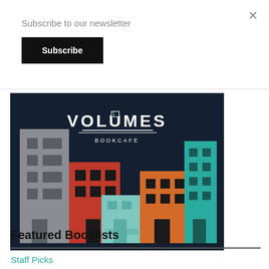Subscribe to our newsletter
Subscribe
[Figure (logo): Volumes Bookcafe logo with colorful illustrated buildings (grey, red, teal/light, orange, teal) on a dark navy background with text VOLUMES BOOKCAFE]
Featured Booklists
Staff Picks